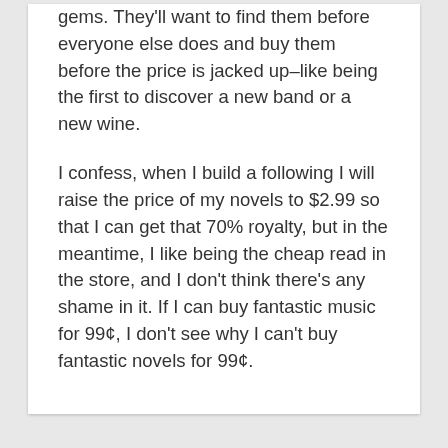gems.  They'll want to find them before everyone else does and buy them before the price is jacked up–like being the first to discover a new band or a new wine.
I confess, when I build a following I will raise the price of my novels to $2.99 so that I can get that 70% royalty, but in the meantime, I like being the cheap read in the store, and I don't think there's any shame in it.  If I can buy fantastic music for 99¢, I don't see why I can't buy fantastic novels for 99¢.